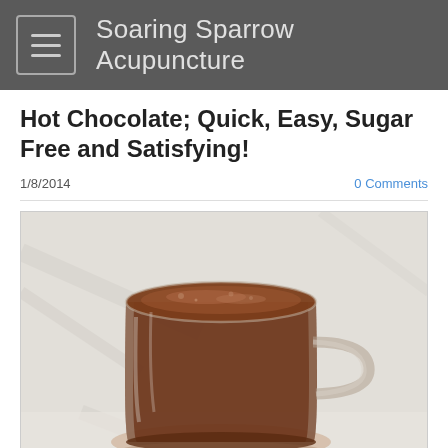Soaring Sparrow Acupuncture
Hot Chocolate; Quick, Easy, Sugar Free and Satisfying!
1/8/2014
0 Comments
[Figure (photo): A glass mug filled with hot chocolate, placed on a white marble surface. The mug is transparent glass with a handle on the right side. The hot chocolate is rich and dark brown, filling the mug almost to the top with a slight foam/froth on the surface. The background is a soft white/light gray blurred fabric or marble texture.]